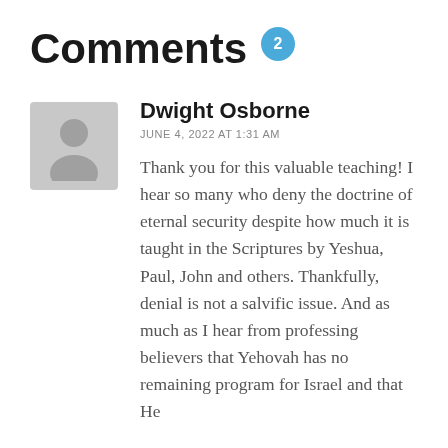Comments 2
Dwight Osborne
JUNE 4, 2022 AT 1:31 AM
Thank you for this valuable teaching! I hear so many who deny the doctrine of eternal security despite how much it is taught in the Scriptures by Yeshua, Paul, John and others. Thankfully, denial is not a salvific issue. And as much as I hear from professing believers that Yehovah has no remaining program for Israel and that He